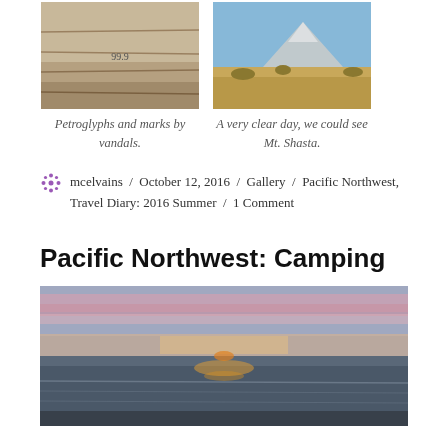[Figure (photo): Photo of rock surface with petroglyphs and vandal marks]
Petroglyphs and marks by vandals.
[Figure (photo): Landscape photo showing Mt. Shasta on a clear day]
A very clear day, we could see Mt. Shasta.
mcelvains / October 12, 2016 / Gallery / Pacific Northwest, Travel Diary: 2016 Summer / 1 Comment
Pacific Northwest: Camping
[Figure (photo): Wide landscape photo of a beach sunset with pink and purple sky over calm ocean water]